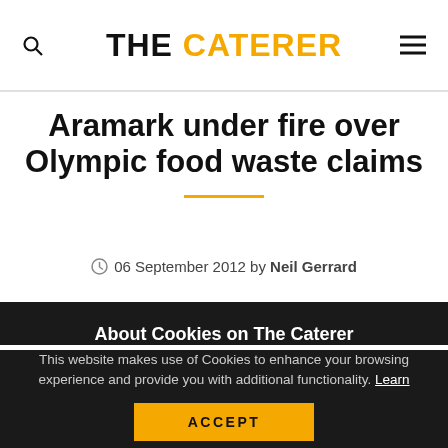THE CATERER
Aramark under fire over Olympic food waste claims
06 September 2012 by Neil Gerrard
About Cookies on The Caterer
This website makes use of Cookies to enhance your browsing experience and provide you with additional functionality. Learn more .
ACCEPT